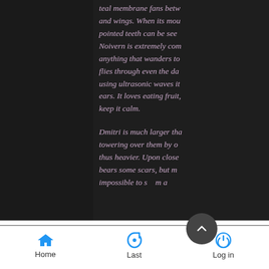teal membrane fans between its ears and wings. When its mouth is open, pointed teeth can be seen. Noivern is extremely combative to anything that wanders too close. It flies through even the darkest night using ultrasonic waves it emits from its ears. It loves eating fruit, and slices keep it calm.
Dmitri is much larger than average, towering over them by o... thus heavier. Upon close... bears some scars, but m... impossible to s...m a...
Sleazy| Stubborn... ...fish
Perverted| Masosanistic|...
Home  Last  Log in